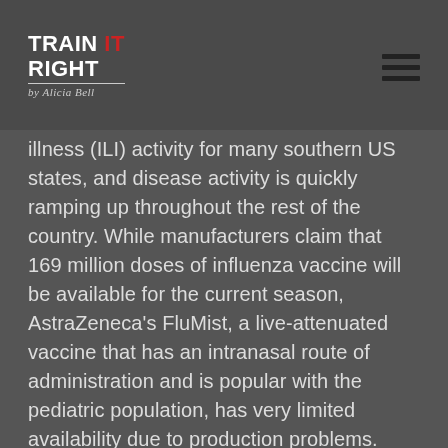TRAIN IT RIGHT by Alicia Bell
illness (ILI) activity for many southern US states, and disease activity is quickly ramping up throughout the rest of the country. While manufacturers claim that 169 million doses of influenza vaccine will be available for the current season, AstraZeneca's FluMist, a live-attenuated vaccine that has an intranasal route of administration and is popular with the pediatric population, has very limited availability due to production problems. Less than 800,000 doses will be available in the US, representing about one-third of the number of doses available last year, says GlobalData, a leading data and analytics company.